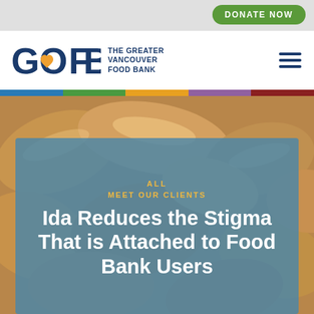DONATE NOW
[Figure (logo): GOFB - The Greater Vancouver Food Bank logo with heart-shaped 'O' in blue and orange]
[Figure (photo): Close-up photo of butternut squash vegetables in orange/tan tones]
ALL
MEET OUR CLIENTS
Ida Reduces the Stigma That is Attached to Food Bank Users
November 19, 2019